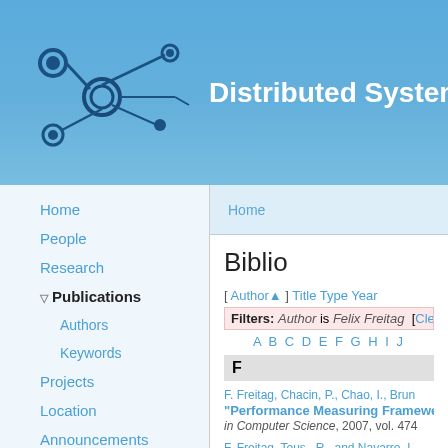Distributed Systems Gr
[Figure (logo): Network/distributed systems graph logo with nodes and edges on blue background]
Home
Biblio
Home
People
Research
Publications
Authors
Keywords
Projects
Location
Announcements
Weekly Meetings
Software
Former Members
[ Author ▲ ] Title Type Year
Filters: Author is Felix Freitag [Cle...
A B C D E F G H I ...
F
F. Freitag, Chacin, P., Chao, I., Brun...
"Performance Measuring Framewo...
in Computer Science, 2007, vol. 474...
F. Freitag, Tous., R., and Navarro, L...
Project-based Course on Comput...
11th International Conference on Co...
2019